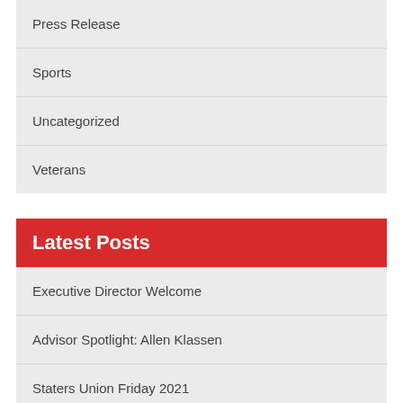Press Release
Sports
Uncategorized
Veterans
Latest Posts
Executive Director Welcome
Advisor Spotlight: Allen Klassen
Staters Union Friday 2021
The Importance of Being Uncomfortable